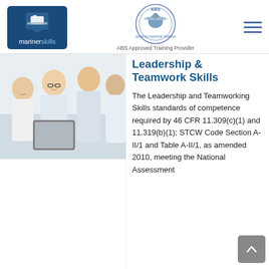[Figure (logo): Mariner Skills logo — white ship/shield icon on dark blue background with 'marinerskills' text]
[Figure (logo): ABS Certified Maritime Training circular seal logo with eagle]
ABS Approved Training Provider
[Figure (photo): Group of business people looking at a tablet together]
Leadership & Teamwork Skills
The Leadership and Teamworking Skills standards of competence required by 46 CFR 11.309(c)(1) and 11.319(b)(1); STCW Code Section A-II/1 and Table A-II/1, as amended 2010, meeting the National Assessment